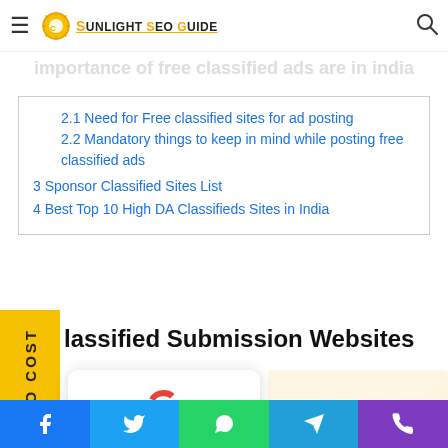Sunlight SEO Guide
2.1 Need for Free classified sites for ad posting
2.2 Mandatory things to keep in mind while posting free classified ads
3 Sponsor Classified Sites List
4 Best Top 10 High DA Classifieds Sites in India
Classified Submission Websites
[Figure (infographic): Google rating card showing 5.0 stars and 30 reviews, alongside a Classified banner image]
Contact us
Facebook, Twitter, WhatsApp, Telegram, Phone social share bar